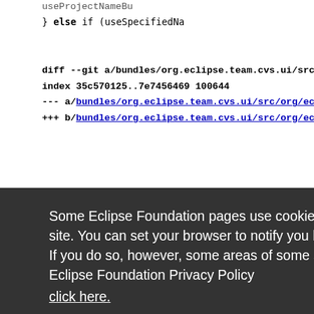useProjectNameBu
} else if (useSpecifiedNa
diff --git a/bundles/org.eclipse.team.cvs.ui/src/
index 35c570125..7e7456469 100644
--- a/bundles/org.eclipse.team.cvs.ui/src/org/ecl
+++ b/bundles/org.eclipse.team.cvs.ui/src/org/ecl
Wizard ex
positories
location;
KnownRep
KnownRep
n) {
ne locati
= KnownR
/src/org/
/g/eclipse
/g/eclipse
eferences
Some Eclipse Foundation pages use cookies to better serve you when you return to the site. You can set your browser to notify you before you receive a cookie or turn off cookies. If you do so, however, some areas of some sites may not function properly. To read Eclipse Foundation Privacy Policy
click here.
Decline
Allow cookies